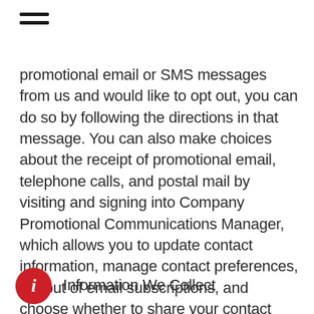promotional email or SMS messages from us and would like to opt out, you can do so by following the directions in that message. You can also make choices about the receipt of promotional email, telephone calls, and postal mail by visiting and signing into Company Promotional Communications Manager, which allows you to update contact information, manage contact preferences, opt out of email subscriptions, and choose whether to share your contact information with our partners. These choices do not apply to mandatory service communications that are part of certain store services.
Information We Collect